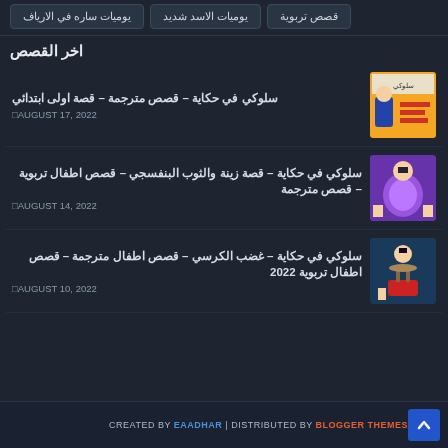قصص تربوية
يوميات الاسد شديد
يوميات ساره في الارياف
اخر القصص
سلوكي في حكاية – قصص مترجمة – قصة اولى ابتدائي
AUGUST 17, 2022
سلوكي في حكاية – قصة زينة والثوب البنفسجي – قصص اطفال تربوية – قصص مترجمة
AUGUST 14, 2022
سلوكي في حكاية – غضب الكرسي – قصص اطفال مترجمة – قصص اطفال تربوية 2022
AUGUST 10, 2022
CREATED BY EAADHAR | DISTRIBUTED BY BLOGGER THEMES